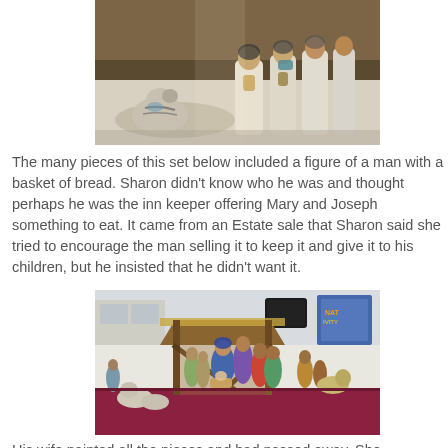[Figure (photo): Photo of ceramic nativity figurines — a small lamb/donkey in foreground and several robed figures (wise men/magi) in the background, on a white draped surface]
The many pieces of this set below included a figure of a man with a basket of bread. Sharon didn't know who he was and thought perhaps he was the inn keeper offering Mary and Joseph something to eat. It came from an Estate sale that Sharon said she tried to encourage the man selling it to keep it and give it to his children, but he insisted that he didn't want it.
[Figure (photo): Photo of a large nativity scene set displayed on a table with a pink/maroon tablecloth, featuring a wooden stable/manger structure and many painted ceramic figurines including Mary, Joseph, wise men, shepherds, and animals, set in what appears to be a public venue]
His wife painted all the pieces and had passed away. She